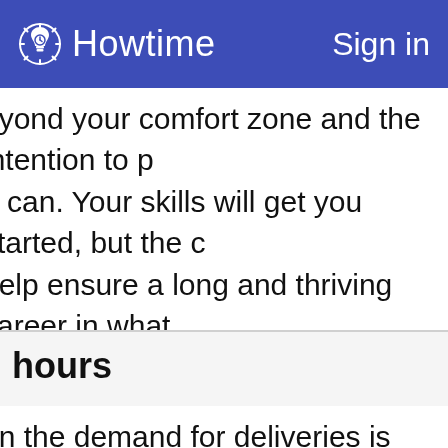Howtime   Sign in
eyond your comfort zone and the intention to p u can. Your skills will get you started, but the c help ensure a long and thriving career in what owing link for more networking advice. Your re ng skills. Is yours? Submit for a free resume cr
: hours
en the demand for deliveries is high. Delivery dr